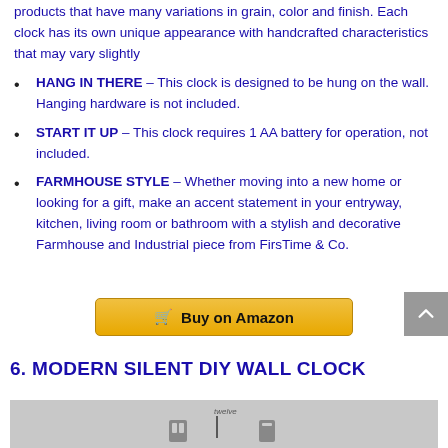products that have many variations in grain, color and finish. Each clock has its own unique appearance with handcrafted characteristics that may vary slightly
HANG IN THERE – This clock is designed to be hung on the wall. Hanging hardware is not included.
START IT UP – This clock requires 1 AA battery for operation, not included.
FARMHOUSE STYLE – Whether moving into a new home or looking for a gift, make an accent statement in your entryway, kitchen, living room or bathroom with a stylish and decorative Farmhouse and Industrial piece from FirsTime & Co.
[Figure (other): Buy on Amazon button]
6. MODERN SILENT DIY WALL CLOCK
[Figure (photo): Product photo of Modern Silent DIY Wall Clock on gray background]